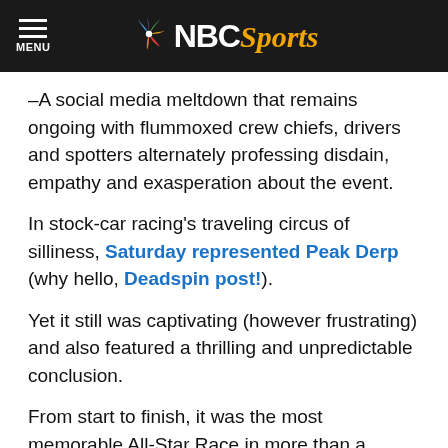NBC Sports
–A social media meltdown that remains ongoing with flummoxed crew chiefs, drivers and spotters alternately professing disdain, empathy and exasperation about the event.
In stock-car racing's traveling circus of silliness, Saturday represented Peak Derp (why hello, Deadspin post!).
Yet it still was captivating (however frustrating) and also featured a thrilling and unpredictable conclusion.
From start to finish, it was the most memorable All-Star Race in more than a decade.
Which is why the Sprint Cup circuit needs more of it.